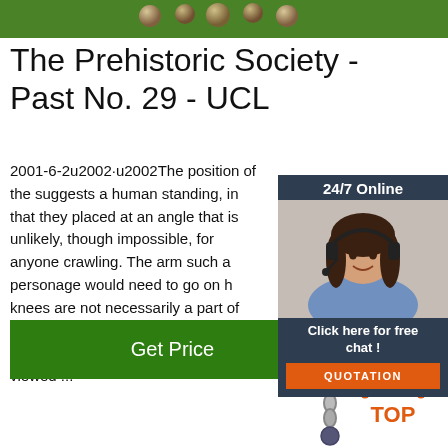[Figure (photo): Green background with decorative balls at top]
The Prehistoric Society - Past No. 29 - UCL
2001-6-2u2002·u2002The position of the suggests a human standing, in that they placed at an angle that is unlikely, though impossible, for anyone crawling. The arm such a personage would need to go on h knees are not necessarily a part of this fi while the tail, which Demouche et al mai more correct for a figure viewed ...
[Figure (photo): 24/7 Online chat advertisement with woman wearing headset]
[Figure (photo): Get Price green button]
[Figure (photo): Chain/pendulum image at bottom]
[Figure (logo): TOP logo with orange dots]